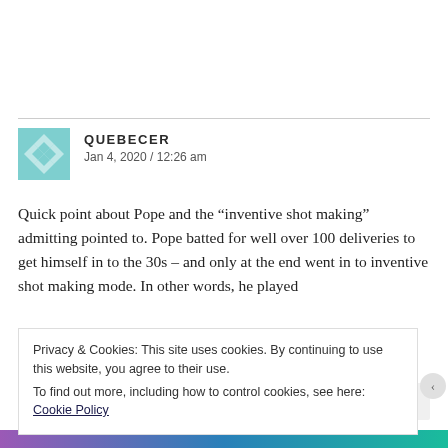QUEBECER
Jan 4, 2020 / 12:26 am
Quick point about Pope and the “inventive shot making” admitting pointed to. Pope batted for well over 100 deliveries to get himself in to the 30s – and only at the end went in to inventive shot making mode. In other words, he played
Privacy & Cookies: This site uses cookies. By continuing to use this website, you agree to their use.
To find out more, including how to control cookies, see here: Cookie Policy
Close and accept